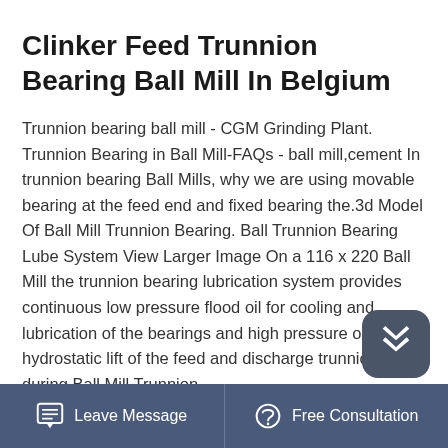Clinker Feed Trunnion Bearing Ball Mill In Belgium
Trunnion bearing ball mill - CGM Grinding Plant. Trunnion Bearing in Ball Mill-FAQs - ball mill,cement In trunnion bearing Ball Mills, why we are using movable bearing at the feed end and fixed bearing the.3d Model Of Ball Mill Trunnion Bearing. Ball Trunnion Bearing Lube System View Larger Image On a 116 x 220 Ball Mill the trunnion bearing lubrication system provides continuous low pressure flood oil for cooling and lubrication of the bearings and high pressure oil for hydrostatic lift of the feed and discharge trunnions during.Ball Mill Trunnion
Leave Message   Free Consultation